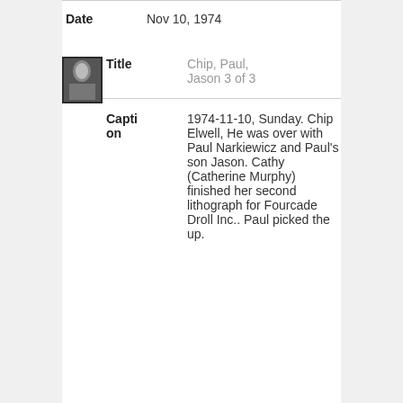Date    Nov 10, 1974
[Figure (photo): Small black and white thumbnail photo of people]
Title    Chip, Paul, Jason 3 of 3
Caption    1974-11-10, Sunday. Chip Elwell, He was over with Paul Narkiewicz and Paul's son Jason. Cathy (Catherine Murphy) finished her second lithograph for Fourcade Droll Inc.. Paul picked the up.